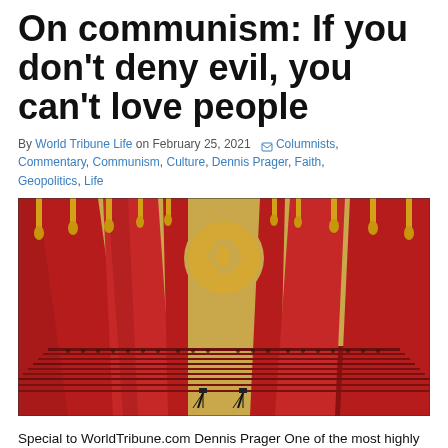On communism: If you don't deny evil, you can't love people
By World Tribune Life on February 25, 2021  Columnists, Commentary, Communism, Culture, Dennis Prager, Faith, Geopolitics, Life
[Figure (photo): Large ceremonial hall with red curtains, a hammer and sickle emblem, and rows of delegates seated — a Chinese Communist Party congress.]
Special to WorldTribune.com Dennis Prager One of the most highly praised books of the 20th centu...